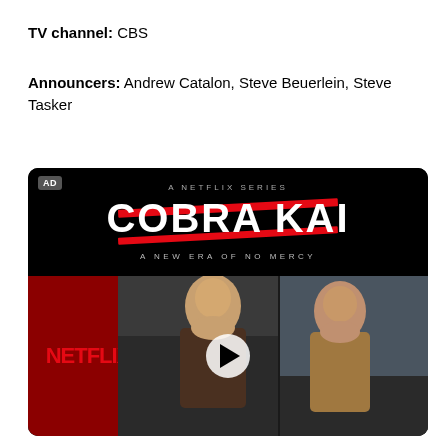TV channel: CBS
Announcers: Andrew Catalon, Steve Beuerlein, Steve Tasker
[Figure (screenshot): Advertisement for Cobra Kai Netflix series showing the Cobra Kai logo on black background with tagline 'A NEW ERA OF NO MERCY', Netflix logo in red, and two actors in fighting stances with a play button overlay. AD badge visible in top left corner.]